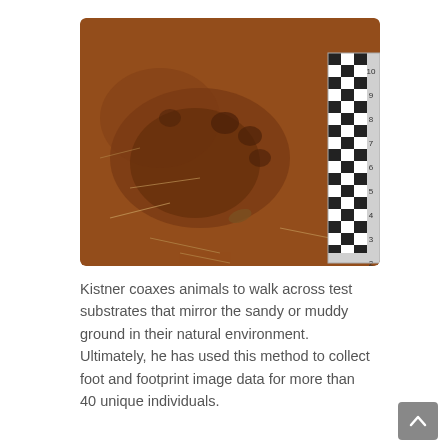[Figure (photo): Close-up photograph of an animal footprint impression in reddish-brown sandy or muddy ground. A black-and-white checkered scale ruler is visible along the right edge of the image, with numerical markings from approximately 2 to 10.]
Kistner coaxes animals to walk across test substrates that mirror the sandy or muddy ground in their natural environment. Ultimately, he has used this method to collect foot and footprint image data for more than 40 unique individuals.